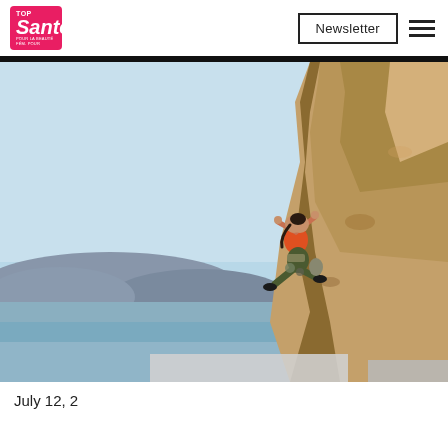[Figure (logo): Top Santé magazine logo — pink/red rounded rectangle with 'Top' in small white text above 'Santé' in large white italic bold text, with small tagline below]
Newsletter
[Figure (photo): Woman rock climbing on a steep cliff face in athletic wear (orange sports top, dark pants), with scenic coastal mountains and blue water/sky in the background]
July 12, 2